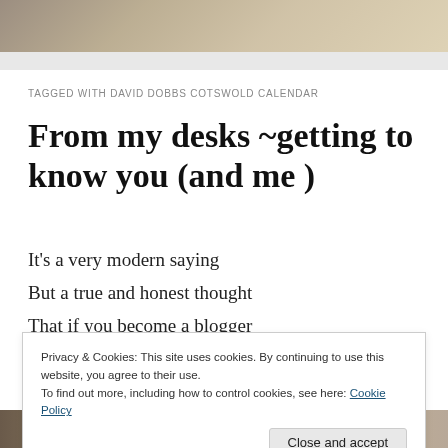[Figure (photo): Partial photo at top of page showing a wooden or rustic surface, cropped]
TAGGED WITH DAVID DOBBS COTSWOLD CALENDAR
From my desks ~getting to know you (and me )
It's a very modern saying
But a true and honest thought
That if you become a blogger
By your readers you'll be taught
Privacy & Cookies: This site uses cookies. By continuing to use this website, you agree to their use.
To find out more, including how to control cookies, see here: Cookie Policy
[Figure (photo): Partial photo strip at bottom of page]